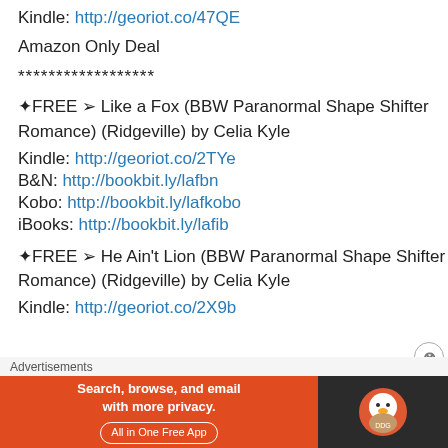Kindle: http://georiot.co/47QE
Amazon Only Deal
******************
✦FREE ➢ Like a Fox (BBW Paranormal Shape Shifter Romance) (Ridgeville) by Celia Kyle
Kindle: http://georiot.co/2TYe
B&N: http://bookbit.ly/lafbn
Kobo: http://bookbit.ly/lafkobo
iBooks: http://bookbit.ly/lafib
✦FREE ➢ He Ain't Lion (BBW Paranormal Shape Shifter Romance) (Ridgeville) by Celia Kyle
Kindle: http://georiot.co/2X9b
[Figure (screenshot): DuckDuckGo advertisement banner: orange background with text 'Search, browse, and email with more privacy. All in One Free App' and DuckDuckGo logo on dark background]